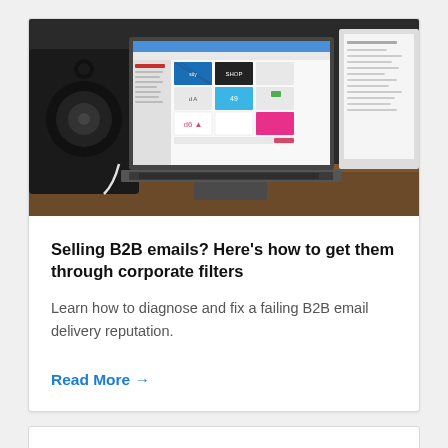[Figure (screenshot): A MacBook laptop displaying a web application with colorful card/template grid layout, next to a speaker, on a wooden desk. A second monitor is partially visible on the right.]
Selling B2B emails? Here's how to get them through corporate filters
Learn how to diagnose and fix a failing B2B email delivery reputation.
Read More →